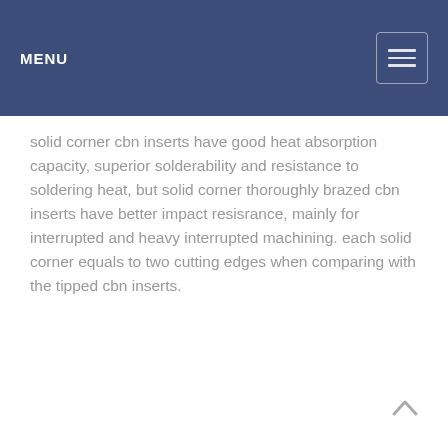MENU
solid corner cbn inserts have good heat absorption capacity, superior solderability and resistance to soldering heat, but solid corner thoroughly brazed cbn inserts have better impact resisrance, mainly for interrupted and heavy interrupted machining. each solid corner equals to two cutting edges when comparing with the tipped cbn inserts.